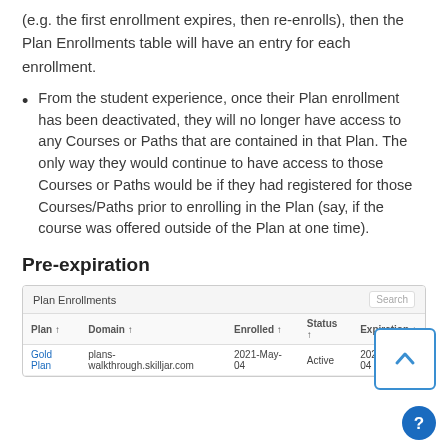(e.g. the first enrollment expires, then re-enrolls), then the Plan Enrollments table will have an entry for each enrollment.
From the student experience, once their Plan enrollment has been deactivated, they will no longer have access to any Courses or Paths that are contained in that Plan. The only way they would continue to have access to those Courses or Paths would be if they had registered for those Courses/Paths prior to enrolling in the Plan (say, if the course was offered outside of the Plan at one time).
Pre-expiration
[Figure (screenshot): Screenshot of Plan Enrollments table showing columns: Plan, Domain, Enrolled, Status, Expiration. One row visible: Gold Plan, plans-walkthrough.skilljar.com, 2021-May-04, Active, 2021-Nov-04]